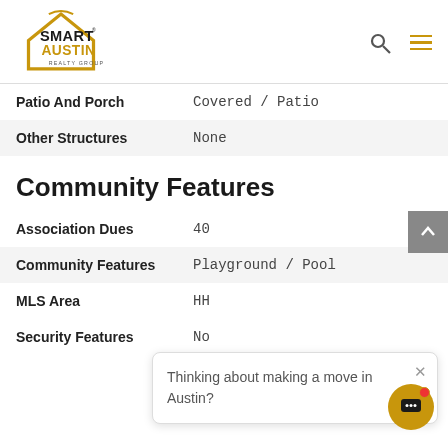[Figure (logo): Smart Austin Realty Group logo with house outline in gold/brown and bold black/gold text]
| Field | Value |
| --- | --- |
| Patio And Porch | Covered / Patio |
| Other Structures | None |
Community Features
| Field | Value |
| --- | --- |
| Association Dues | 40 |
| Community Features | Playground / Pool |
| MLS Area | HH |
| Security Features | No |
Thinking about making a move in Austin?